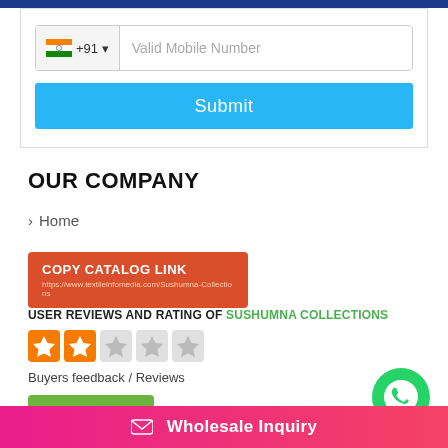[Figure (screenshot): Phone number input field with Indian flag (+91) and 'Valid Mobile Number' placeholder text]
[Figure (screenshot): Submit button in blue]
OUR COMPANY
> Home
[Figure (infographic): Red button with COPY CATALOG LINK and URL https://www.textileinfomedia.com/Sushumna-Collections]
USER REVIEWS AND RATING OF SUSHUMNA COLLECTIONS
[Figure (other): Star rating showing 2 out of 5 orange stars]
Buyers feedback / Reviews
[Figure (other): Green Write Review button]
[Figure (logo): WhatsApp green circle icon]
Wholesale Inquiry